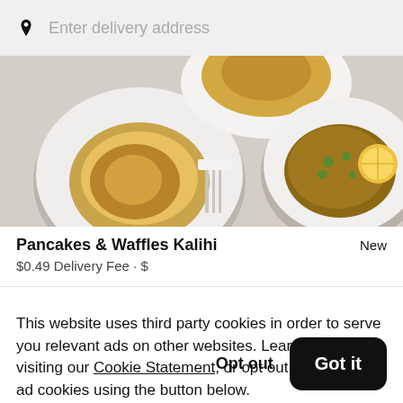Enter delivery address
[Figure (photo): Overhead shot of food dishes including pancakes with syrup and a stir-fry dish on white plates on a light gray background]
Pancakes & Waffles Kalihi
New
$0.49 Delivery Fee • $
This website uses third party cookies in order to serve you relevant ads on other websites. Learn more by visiting our Cookie Statement, or opt out of third party ad cookies using the button below.
Opt out
Got it